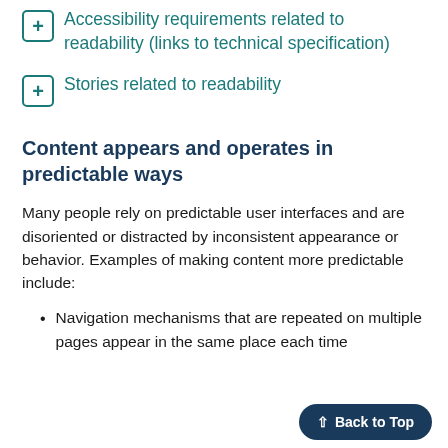Accessibility requirements related to readability (links to technical specification)
Stories related to readability
Content appears and operates in predictable ways
Many people rely on predictable user interfaces and are disoriented or distracted by inconsistent appearance or behavior. Examples of making content more predictable include:
Navigation mechanisms that are repeated on multiple pages appear in the same place each time